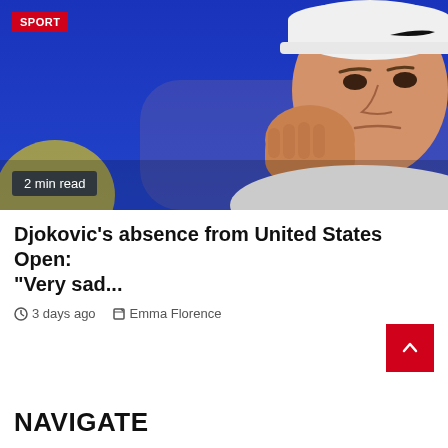[Figure (photo): A male tennis player wearing a white Nike cap resting his chin/cheek on his hand, with a thoughtful/sad expression, against a blue background. 'SPORT' badge in red top-left. '2 min read' badge bottom-left.]
Djokovic's absence from United States Open: "Very sad...
3 days ago   Emma Florence
NAVIGATE